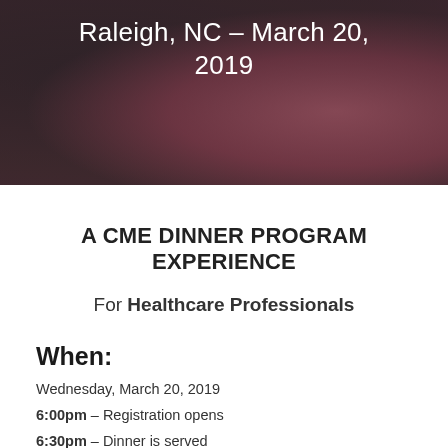[Figure (photo): Blurred photo background of people at a dinner/event with dark and pink/red tones, serving as a banner image]
Raleigh, NC – March 20, 2019
A CME DINNER PROGRAM EXPERIENCE
For Healthcare Professionals
When:
Wednesday, March 20, 2019
6:00pm – Registration opens
6:30pm – Dinner is served